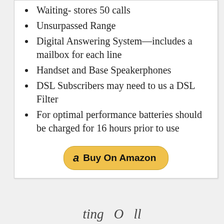Waiting- stores 50 calls
Unsurpassed Range
Digital Answering System—includes a mailbox for each line
Handset and Base Speakerphones
DSL Subscribers may need to us a DSL Filter
For optimal performance batteries should be charged for 16 hours prior to use
[Figure (other): Amazon Buy On Amazon button with Amazon logo]
ting  O  ll